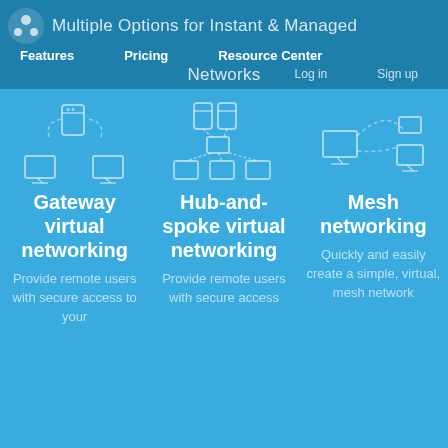Multiple Options for Instant & Managed Networks
Features   Pricing   Resource Center   Log in   Sign up
[Figure (illustration): Gateway virtual networking icon: server connected by dashed arcs to two monitors]
Gateway virtual networking
Provide remote users with secure access to your
[Figure (illustration): Hub-and-spoke virtual networking icon: two servers connected to a central device and three monitors]
Hub-and-spoke virtual networking
Provide remote users with secure access
[Figure (illustration): Mesh networking icon: monitor connected by dashed arc to two other devices]
Mesh networking
Quickly and easily create a simple, virtual, mesh network